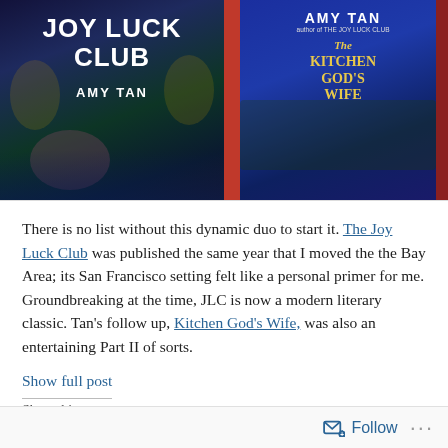[Figure (photo): Two book covers side by side: The Joy Luck Club by Amy Tan (left, dark illustrated cover with dragons) and The Kitchen God's Wife by Amy Tan (right, blue cover with decorative Asian motifs and still life)]
There is no list without this dynamic duo to start it. The Joy Luck Club was published the same year that I moved the the Bay Area; its San Francisco setting felt like a personal primer for me. Groundbreaking at the time, JLC is now a modern literary classic. Tan’s follow up, Kitchen God’s Wife, was also an entertaining Part II of sorts.
Show full post
Share this: